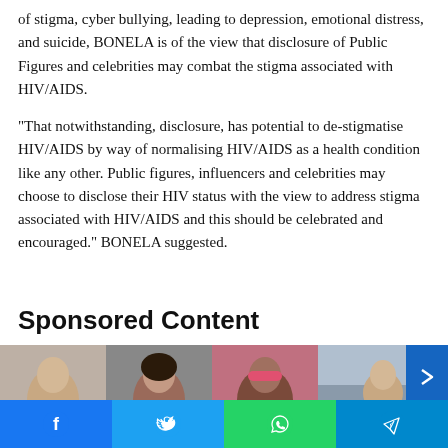of stigma, cyber bullying, leading to depression, emotional distress, and suicide, BONELA is of the view that disclosure of Public Figures and celebrities may combat the stigma associated with HIV/AIDS.
“That notwithstanding, disclosure, has potential to de-stigmatise HIV/AIDS by way of normalising HIV/AIDS as a health condition like any other. Public figures, influencers and celebrities may choose to disclose their HIV status with the view to address stigma associated with HIV/AIDS and this should be celebrated and encouraged.” BONELA suggested.
Sponsored Content
[Figure (photo): Row of four photos of people, partially visible at bottom of page]
[Figure (other): Social media sharing bar with Facebook, Twitter, WhatsApp, and Telegram buttons]